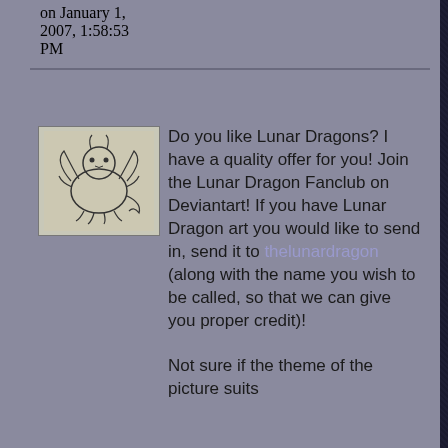on January 1, 2007, 1:58:53 PM
[Figure (illustration): Small sketch/avatar image of a cartoon dragon character in black and white]
Do you like Lunar Dragons? I have a quality offer for you! Join the Lunar Dragon Fanclub on Deviantart! If you have Lunar Dragon art you would like to send in, send it to thelunardragon (along with the name you wish to be called, so that we can give you proper credit)!

Not sure if the theme of the picture suits
thelunardragon